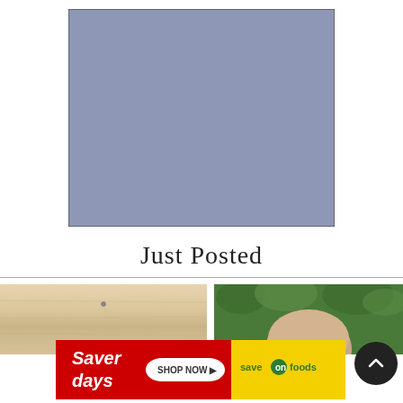[Figure (photo): A large square image placeholder with a solid muted blue-grey fill and a thin dark border, representing a blank or loading image area.]
Just Posted
[Figure (photo): Bottom-left thumbnail: a close-up of light-coloured wooden planks or flooring with a small dark dot/nail in the centre.]
[Figure (photo): Bottom-right thumbnail: a photo of a bald person's head from above, surrounded by green foliage.]
[Figure (other): Save On Foods advertisement banner: red section on the left with 'Saver days' in white text, a white oval with 'SHOP NOW ►', and a yellow section on the right with 'save on foods' logo in green.]